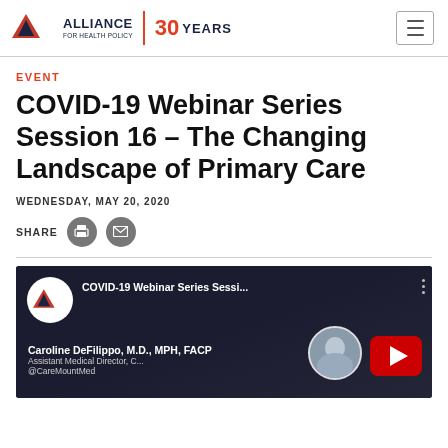Alliance for Health Policy | 30 YEARS
EVENT
COVID-19 Webinar Series Session 16 – The Changing Landscape of Primary Care
WEDNESDAY, MAY 20, 2020
SHARE
[Figure (screenshot): YouTube video thumbnail for COVID-19 Webinar Series Session 16, showing Alliance for Health Policy logo, video title 'COVID-19 Webinar Series Sessi...', speaker Caroline DeFilippo M.D., MPH, FACP, Assistant Medical Director, @CareMountMed, with a play button overlay]